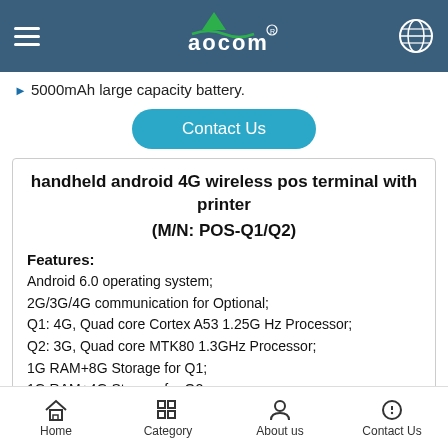Aocom header navigation bar
5000mAh large capacity battery.
Contact Us
handheld android 4G wireless pos terminal with printer
(M/N: POS-Q1/Q2)
Features:
Android 6.0 operating system;
2G/3G/4G communication for Optional;
Q1: 4G, Quad core Cortex A53 1.25G Hz Processor;
Q2: 3G, Quad core MTK80 1.3GHz Processor;
1G RAM+8G Storage for Q1;
1G RAM+4G Storage for Q2;
Built-in high speed 58mm thermal printer module;
Home  Category  About us  Contact Us